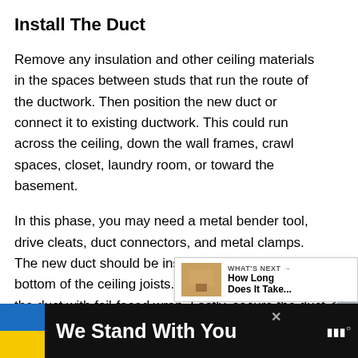Install The Duct
Remove any insulation and other ceiling materials in the spaces between studs that run the route of the ductwork. Then position the new duct or connect it to existing ductwork. This could run across the ceiling, down the wall frames, crawl spaces, closet, laundry room, or toward the basement.
In this phase, you may need a metal bender tool, drive cleats, duct connectors, and metal clamps. The new duct should be installed tightly at the bottom of the ceiling joists. You can also insulate the duct with foil-faced wrap. Lastly, secure the duct to the ceiling joists with a hanger strap or saddle.
[Figure (other): Social sharing sidebar with heart/like button showing count 3, and a share icon button]
[Figure (other): WHAT'S NEXT callout bar with thumbnail image and text 'How Long Does It Take...']
[Figure (other): Advertisement banner: Ukrainian flag colors with text 'We Stand With You' and close button, with website logo]